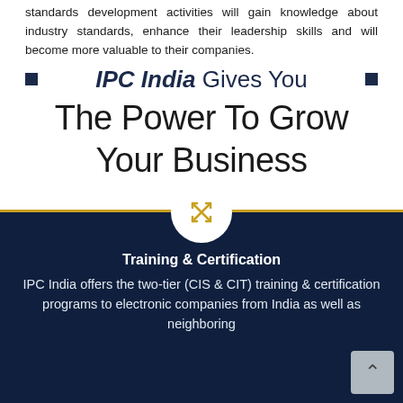standards development activities will gain knowledge about industry standards, enhance their leadership skills and will become more valuable to their companies.
IPC India Gives You The Power To Grow Your Business
Training & Certification
IPC India offers the two-tier (CIS & CIT) training & certification programs to electronic companies from India as well as neighboring